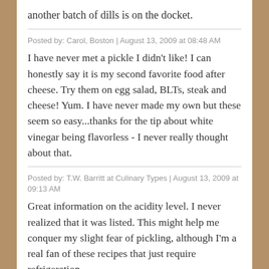another batch of dills is on the docket.
Posted by: Carol, Boston | August 13, 2009 at 08:48 AM
I have never met a pickle I didn't like! I can honestly say it is my second favorite food after cheese. Try them on egg salad, BLTs, steak and cheese! Yum. I have never made my own but these seem so easy...thanks for the tip about white vinegar being flavorless - I never really thought about that.
Posted by: T.W. Barritt at Culinary Types | August 13, 2009 at 09:13 AM
Great information on the acidity level. I never realized that it was listed. This might help me conquer my slight fear of pickling, although I'm a real fan of these recipes that just require refrigeration.